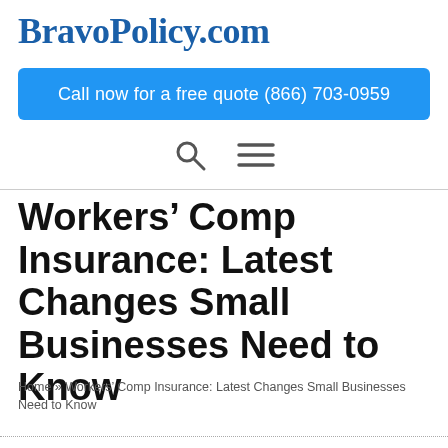BravoPolicy.com
Call now for a free quote (866) 703-0959
[Figure (other): Navigation icons: search (magnifying glass) and hamburger menu]
Workers’ Comp Insurance: Latest Changes Small Businesses Need to Know
Home » Workers’ Comp Insurance: Latest Changes Small Businesses Need to Know